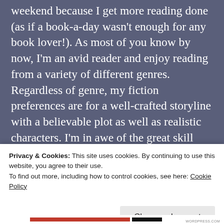weekend because I get more reading done (as if a book-a-day wasn't enough for any book lover!). As most of you know by now, I'm an avid reader and enjoy reading from a variety of different genres. Regardless of genre, my fiction preferences are for a well-crafted storyline with a believable plot as well as realistic characters. I'm in awe of the great skill and talent to craft an entrancing read, whether it's story or character driven. Today's guest, author David Rabin, will share how he crafted the characters in his character-driven
Privacy & Cookies: This site uses cookies. By continuing to use this website, you agree to their use.
To find out more, including how to control cookies, see here: Cookie Policy
Close and accept